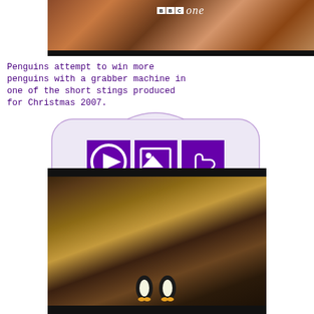[Figure (screenshot): BBC One television channel ident screenshot showing teddy bears with BBC One logo overlay]
Penguins attempt to win more penguins with a grabber machine in one of the short stings produced for Christmas 2007.
[Figure (screenshot): Interactive widget showing TV screen shape with three purple icon buttons: play, image gallery, and thumbs up, with title BBC One (Penguins - Sting) - Christmas 2007]
[Figure (screenshot): Video screenshot showing penguins in a scene from the BBC One Christmas 2007 sting]